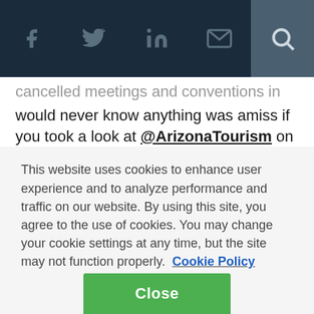Social media navigation bar with Facebook, Twitter, LinkedIn, Mail, and Search icons
cancelled meetings and conventions in the thing, you would never know anything was amiss if you took a look at @ArizonaTourism on Twitter, either.
On April 23, the day the governor signed the legislation, @ArizonaTourism issued one tweet.
Are you subscribed to the monthly Arizona Tourism Enewsletter? If not, view the latest at http://ow.ly/1BONO
Since that time, through April 29, with threats to the state's
This website uses cookies to enhance user experience and to analyze performance and traffic on our website. By using this site, you agree to the use of cookies. You may change your cookie settings at any time, but the site may not function properly.  Cookie Policy
Close